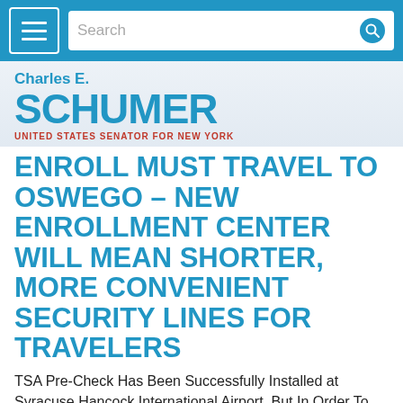Menu | Search
[Figure (logo): Charles E. Schumer - United States Senator for New York logo/branding]
ENROLL MUST TRAVEL TO OSWEGO – NEW ENROLLMENT CENTER WILL MEAN SHORTER, MORE CONVENIENT SECURITY LINES FOR TRAVELERS
TSA Pre-Check Has Been Successfully Installed at Syracuse Hancock International Airport, But In Order To Register For The Program Residents Must Travel All The Way to Oswego - Pre-Check Program Enables Travelers Personal Info To Easy Travel